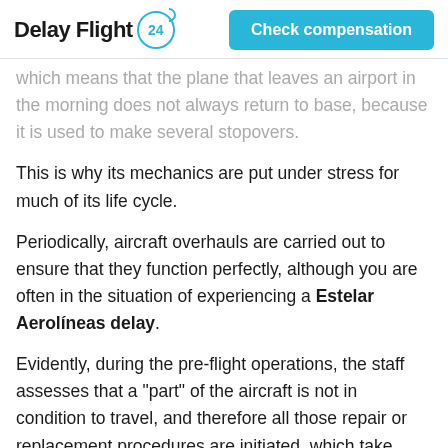Delay Flight 24 | Check compensation
which means that the plane that leaves an airport in the morning does not always return to base, because it is used to make several stopovers.
This is why its mechanics are put under stress for much of its life cycle.
Periodically, aircraft overhauls are carried out to ensure that they function perfectly, although you are often in the situation of experiencing a Estelar Aerolíneas delay.
Evidently, during the pre-flight operations, the staff assesses that a "part" of the aircraft is not in condition to travel, and therefore all those repair or replacement procedures are initiated, which take minutes, sometimes hours, on the company's schedule.